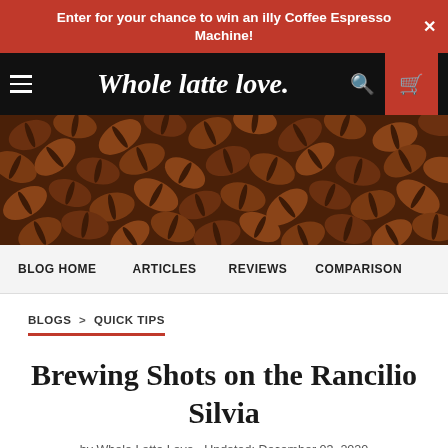Enter for your chance to win an illy Coffee Espresso Machine! ×
[Figure (logo): Whole Latte Love website navigation bar with hamburger menu, logo, search icon, and cart icon on black background with red cart area]
[Figure (photo): Close-up photo of roasted coffee beans filling the entire frame]
BLOG HOME    ARTICLES    REVIEWS    COMPARISON
BLOGS > QUICK TIPS
Brewing Shots on the Rancilio Silvia
by Whole Latte Love   Updated: December 03, 2020
CLICK HERE